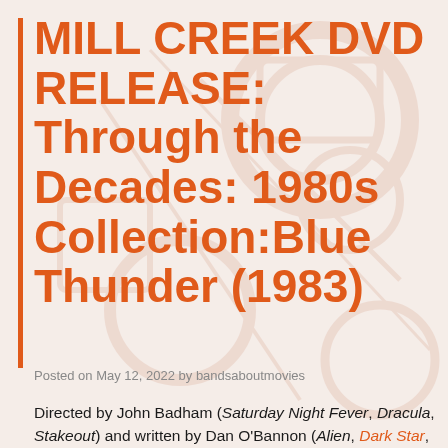MILL CREEK DVD RELEASE: Through the Decades: 1980s Collection:Blue Thunder (1983)
Posted on May 12, 2022 by bandsaboutmovies
Directed by John Badham (Saturday Night Fever, Dracula, Stakeout) and written by Dan O'Bannon (Alien, Dark Star, Return of the Living Dead, Lifeforce) and Don Jakoby (The Philadelphia Experiment, Death Wish 3, Double Team), Blue Thunder stands between the